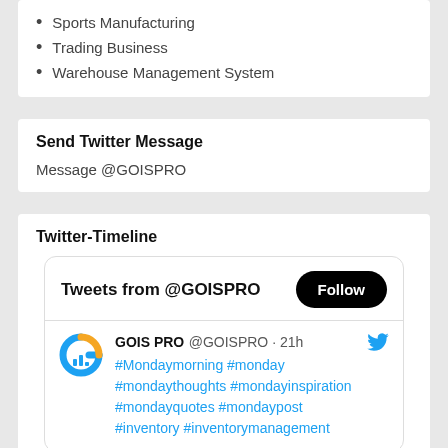Sports Manufacturing
Trading Business
Warehouse Management System
Send Twitter Message
Message @GOISPRO
Twitter-Timeline
[Figure (screenshot): Twitter widget showing 'Tweets from @GOISPRO' with a Follow button, and a tweet from GOIS PRO @GOISPRO 21h with hashtags #Mondaymorning #monday #mondaythoughts #mondayinspiration #mondayquotes #mondaypost #inventory #inventorymanagement]